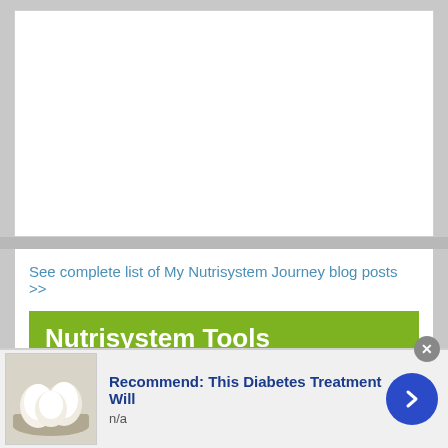[Figure (other): White empty content area at top of page]
See complete list of My Nutrisystem Journey blog posts >>
Nutrisystem Tools
Nutrisystem Breakfast Meals - This lists all the Nutrisystem breakfast meals.  You can sort the list by any key nutrient category like, calories, fats, cabs, protein, sodium or fiber.  FYI The page may take a few extra seconds to load.  Looking for the lowest calorie meal, or maybe one with the highest fiber or maybe you want the lowest carb?  Find it fast with our sortable breakfast meal list.
[Figure (photo): Small photo of white eggs in a bowl, advertisement image]
Recommend: This Diabetes Treatment Will
n/a